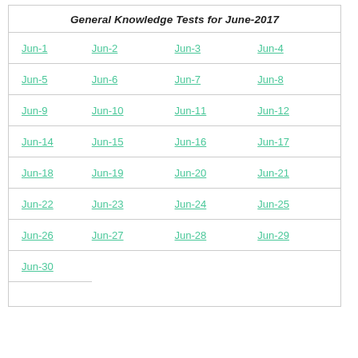General Knowledge Tests for June-2017
| Jun-1 | Jun-2 | Jun-3 | Jun-4 |
| Jun-5 | Jun-6 | Jun-7 | Jun-8 |
| Jun-9 | Jun-10 | Jun-11 | Jun-12 |
| Jun-14 | Jun-15 | Jun-16 | Jun-17 |
| Jun-18 | Jun-19 | Jun-20 | Jun-21 |
| Jun-22 | Jun-23 | Jun-24 | Jun-25 |
| Jun-26 | Jun-27 | Jun-28 | Jun-29 |
| Jun-30 |  |  |  |